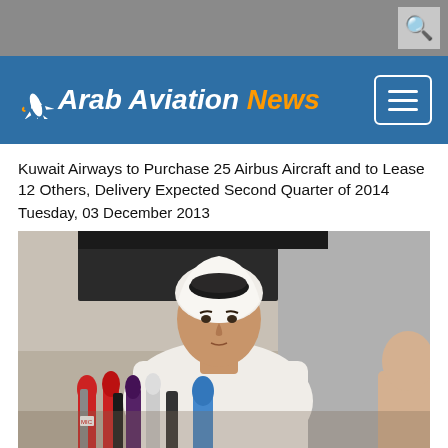Arab Aviation News
Kuwait Airways to Purchase 25 Airbus Aircraft and to Lease 12 Others, Delivery Expected Second Quarter of 2014
Tuesday, 03 December 2013
[Figure (photo): A man wearing traditional Gulf Arab white thobe and keffiyeh sitting at a press conference table with multiple microphones in front of him.]